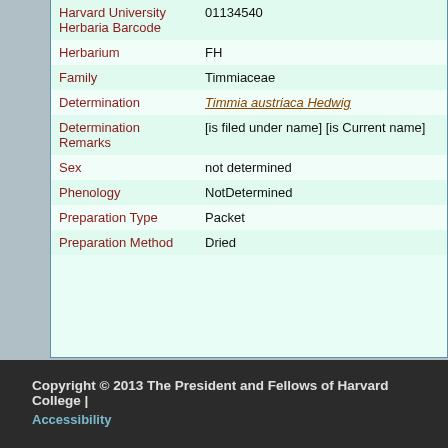| Harvard University Herbaria Barcode | 01134540 |
| Herbarium | FH |
| Family | Timmiaceae |
| Determination | Timmia austriaca Hedwig |
| Determination Remarks | [is filed under name] [is Current name] |
| Sex | not determined |
| Phenology | NotDetermined |
| Preparation Type | Packet |
| Preparation Method | Dried |
Copyright © 2013 The President and Fellows of Harvard College | Accessibility